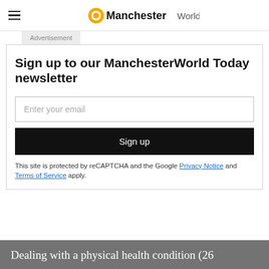ManchesterWorld
Advertisement
Sign up to our ManchesterWorld Today newsletter
Enter your email
Sign up
This site is protected by reCAPTCHA and the Google Privacy Notice and Terms of Service apply.
Dealing with a physical health condition (26